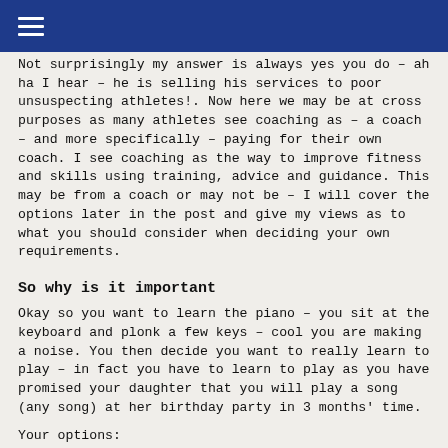≡
Not surprisingly my answer is always  yes you do – ah ha I hear – he is selling his services to poor unsuspecting athletes!.  Now here we may be at cross purposes as many athletes see coaching as – a coach – and more specifically – paying for their own coach.  I see coaching as the way to improve fitness and skills using training, advice and guidance.  This may be from a coach or may not be – I will cover the options later in the post and give my views as to what you should consider when deciding your own requirements.
So why is it important
Okay so you want to learn the piano – you sit at the keyboard and plonk a few keys – cool you are making a noise.  You then decide you want to really learn to play – in fact you have to learn to play as you have promised your daughter that you will play a song (any song) at her birthday party in 3 months' time.
Your options: